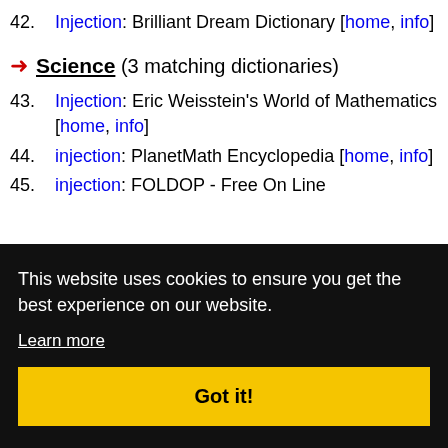42. Injection: Brilliant Dream Dictionary [home, info]
Science (3 matching dictionaries)
43. Injection: Eric Weisstein's World of Mathematics [home, info]
44. injection: PlanetMath Encyclopedia [home, info]
45. injection: FOLDOP - Free On Line
This website uses cookies to ensure you get the best experience on our website. Learn more
Got it!